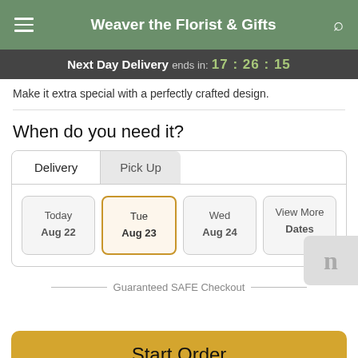Weaver the Florist & Gifts
Next Day Delivery ends in: 17:26:15
Make it extra special with a perfectly crafted design.
When do you need it?
Delivery | Pick Up
Today Aug 22 | Tue Aug 23 | Wed Aug 24 | View More Dates
Guaranteed SAFE Checkout
Start Order